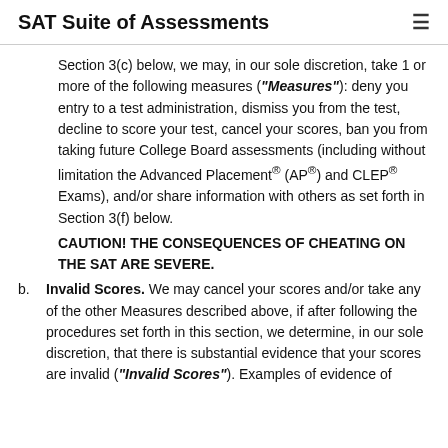SAT Suite of Assessments
Section 3(c) below, we may, in our sole discretion, take 1 or more of the following measures ("Measures"): deny you entry to a test administration, dismiss you from the test, decline to score your test, cancel your scores, ban you from taking future College Board assessments (including without limitation the Advanced Placement® (AP®) and CLEP® Exams), and/or share information with others as set forth in Section 3(f) below. CAUTION! THE CONSEQUENCES OF CHEATING ON THE SAT ARE SEVERE.
b. Invalid Scores. We may cancel your scores and/or take any of the other Measures described above, if after following the procedures set forth in this section, we determine, in our sole discretion, that there is substantial evidence that your scores are invalid ("Invalid Scores"). Examples of evidence of